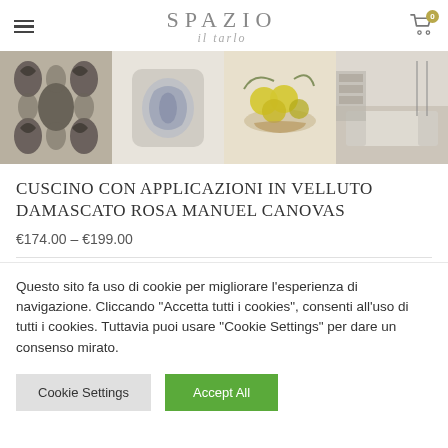SPAZIO il tarlo
[Figure (photo): Banner with four product images: damask fabric pattern, decorative pillow, fruit bowl artwork, and living room with sofa]
CUSCINO CON APPLICAZIONI IN VELLUTO DAMASCATO ROSA MANUEL CANOVAS
€174.00 – €199.00
Questo sito fa uso di cookie per migliorare l'esperienza di navigazione. Cliccando "Accetta tutti i cookies", consenti all'uso di tutti i cookies. Tuttavia puoi usare "Cookie Settings" per dare un consenso mirato.
Cookie Settings | Accept All